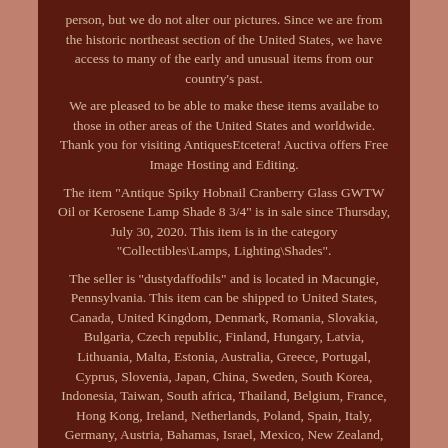person, but we do not alter our pictures. Since we are from the historic northeast section of the United States, we have access to many of the early and unusual items from our country's past.
We are pleased to be able to make these items availabe to those in other areas of the United States and worldwide. Thank you for visiting AntiquesEtcetera! Auctiva offers Free Image Hosting and Editing.
The item "Antique Spiky Hobnail Cranberry Glass GWTW Oil or Kerosene Lamp Shade 8 3/4" is in sale since Thursday, July 30, 2020. This item is in the category "Collectibles\Lamps, Lighting\Shades".
The seller is "dustydaffodils" and is located in Macungie, Pennsylvania. This item can be shipped to United States, Canada, United Kingdom, Denmark, Romania, Slovakia, Bulgaria, Czech republic, Finland, Hungary, Latvia, Lithuania, Malta, Estonia, Australia, Greece, Portugal, Cyprus, Slovenia, Japan, China, Sweden, South Korea, Indonesia, Taiwan, South africa, Thailand, Belgium, France, Hong Kong, Ireland, Netherlands, Poland, Spain, Italy, Germany, Austria, Bahamas, Israel, Mexico, New Zealand, Philippines, Singapore, Switzerland, Norway, Saudi arabia, United arab emirates, Qatar, Kuwait, Bahrain, Croatia, Malaysia, Chile, Colombia, Costa rica, Dominican republic, Panama, Trinidad and tobago, Guatemala, Honduras, Jamaica, Antigua and barbuda, Aruba, Belize, Dominica, Grenada, Saint kitts and nevis, Saint lucia, Montserrat, Turks and caicos islands, Barbados, Bangladesh...